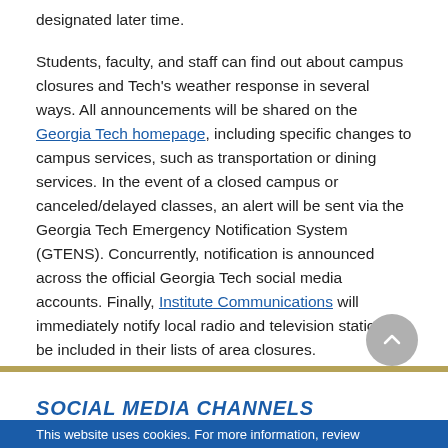designated later time.
Students, faculty, and staff can find out about campus closures and Tech's weather response in several ways. All announcements will be shared on the Georgia Tech homepage, including specific changes to campus services, such as transportation or dining services. In the event of a closed campus or canceled/delayed classes, an alert will be sent via the Georgia Tech Emergency Notification System (GTENS). Concurrently, notification is announced across the official Georgia Tech social media accounts. Finally, Institute Communications will immediately notify local radio and television stations to be included in their lists of area closures.
SOCIAL MEDIA CHANNELS
This website uses cookies. For more information, review